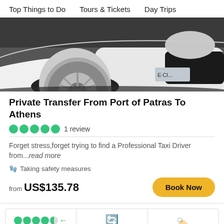Top Things to Do   Tours & Tickets   Day Trips
[Figure (photo): Close-up photo of white Mercedes E-Class car showing front wheel, bumper, and headlight]
Private Transfer From Port of Patras To Athens
1 review
Forget stress,forget trying to find a Professional Taxi Driver from...read more
Taking safety measures
from US$135.78
Book Now
Trusted Reviews and Ratings
Free 24-hour Cancellation
Low-price Guarantee